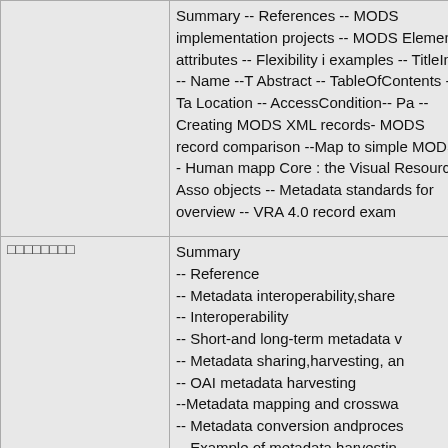Summary -- References -- MODS implementation projects -- MODS Element attributes -- Flexibility in examples -- TitleInfo -- Name --T Abstract -- TableOfContents --Ta Location -- AccessCondition-- Pa -- Creating MODS XML records- MODS record comparison --Map to simple MODS -- Human mapp Core : the Visual Resources Asso objects -- Metadata standards for overview -- VRA 4.0 record exam
□□□□□□□□
Summary -- Reference -- Metadata interoperability,share -- Interoperability -- Short-and long-term metadata v -- Metadata sharing,harvesting, an -- OAI metadata harvesting --Metadata mapping and crosswa -- Metadata conversion andproces -- Example of metadata harvestin -- Good quality and shareable me and interoperability -- Summary - design and documentation --Intro